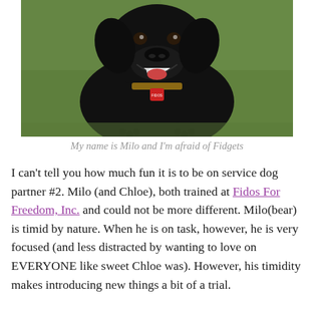[Figure (photo): A black Labrador dog looking up at the camera with a big smile, wearing a collar with a red tag, standing on green grass.]
My name is Milo and I'm afraid of Fidgets
I can't tell you how much fun it is to be on service dog partner #2. Milo (and Chloe), both trained at Fidos For Freedom, Inc. and could not be more different. Milo(bear) is timid by nature. When he is on task, however, he is very focused (and less distracted by wanting to love on EVERYONE like sweet Chloe was). However, his timidity makes introducing new things a bit of a trial.